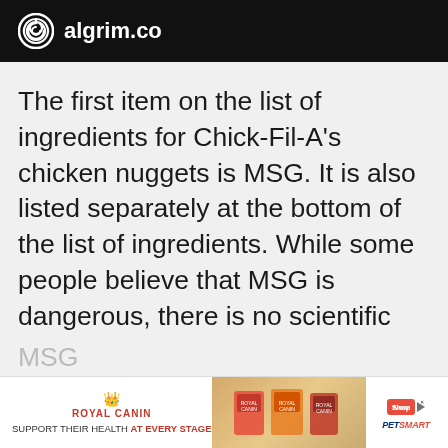algrim.co
The first item on the list of ingredients for Chick-Fil-A's chicken nuggets is MSG. It is also listed separately at the bottom of the list of ingredients. While some people believe that MSG is dangerous, there is no scientific evidence to support these claims.
In fact, the FDA has classified MSG as a “safe food ingredient.” Chick-Fil-A’s use of MSG
[Figure (advertisement): Royal Canin advertisement banner with PetSmart branding and dog food product images]